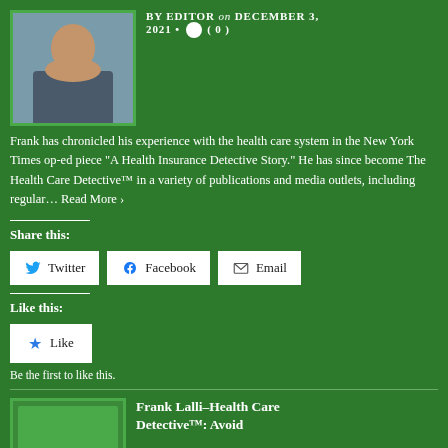[Figure (photo): Headshot photo of a man, likely Frank Lalli, against a light background]
BY EDITOR on DECEMBER 3, 2021 • ( 0 )
Frank has chronicled his experience with the health care system in the New York Times op-ed piece “A Health Insurance Detective Story.” He has since become The Health Care Detective™ in a variety of publications and media outlets, including regular… Read More ›
Share this:
Twitter
Facebook
Email
Like this:
Like
Be the first to like this.
[Figure (photo): Thumbnail image for the related article Frank Lalli-Health Care Detective]
Frank Lalli-Health Care Detective™: Avoid